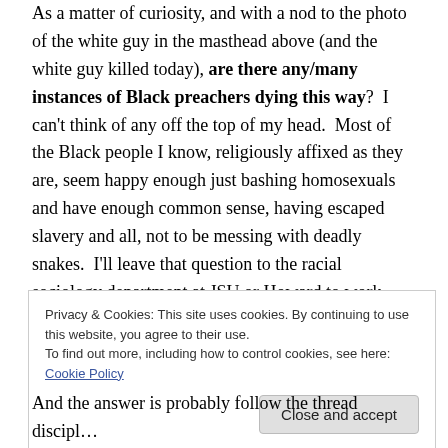As a matter of curiosity, and with a nod to the photo of the white guy in the masthead above (and the white guy killed today), are there any/many instances of Black preachers dying this way?  I can't think of any off the top of my head.  Most of the Black people I know, religiously affixed as they are, seem happy enough just bashing homosexuals and have enough common sense, having escaped slavery and all, not to be messing with deadly snakes.  I'll leave that question to the racial sociology department at JSU or Howard to work out.  I'm always happy to toss out a free doctoral dissertation topic for a
Privacy & Cookies: This site uses cookies. By continuing to use this website, you agree to their use.
To find out more, including how to control cookies, see here: Cookie Policy
Close and accept
And the answer is probably follow the thread discipline...